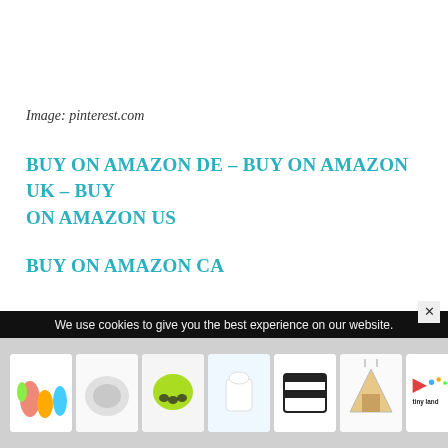Image: pinterest.com
BUY ON AMAZON DE – BUY ON AMAZON UK – BUY ON AMAZON US
BUY ON AMAZON CA
Moving on to the women's vests, the first one is Aconcagua, which varies in design from the men's version. It is made of Nylon and comes in an active fit cut, which makes it great for outdoor activities in cold temperatures.
We use cookies to give you the best experience on our website.
[Figure (photo): Advertisement banner with small product images of toys and pet items, and a Tiny Land logo]